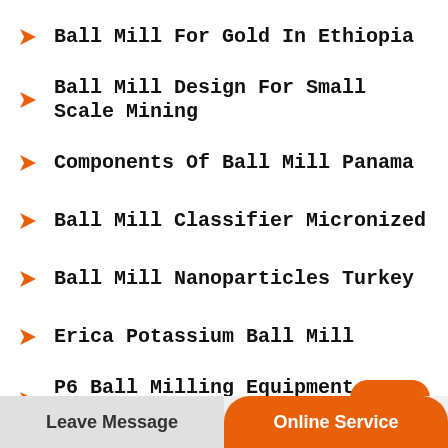Ball Mill For Gold In Ethiopia
Ball Mill Design For Small Scale Mining
Components Of Ball Mill Panama
Ball Mill Classifier Micronized
Ball Mill Nanoparticles Turkey
Erica Potassium Ball Mill
P6 Ball Milling Equipment In Uganda
Automatic Ball Mill Machine For Cement Paint M...
Continuous Industrial Ball Mill Sizing And Price
[Figure (other): Orange rounded square button with upward chevron icon (scroll to top button)]
Ball Mill BMCS BXAS HBCC
Leave Message
Online Service